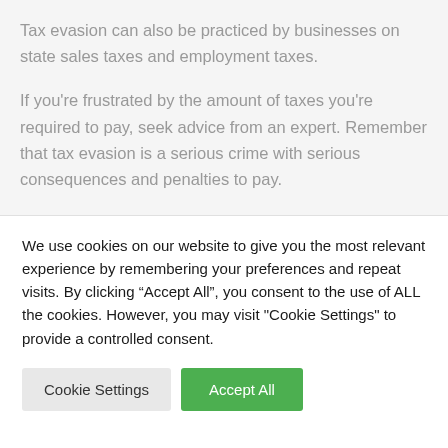Tax evasion can also be practiced by businesses on state sales taxes and employment taxes.
If you're frustrated by the amount of taxes you're required to pay, seek advice from an expert. Remember that tax evasion is a serious crime with serious consequences and penalties to pay.
We use cookies on our website to give you the most relevant experience by remembering your preferences and repeat visits. By clicking “Accept All”, you consent to the use of ALL the cookies. However, you may visit "Cookie Settings" to provide a controlled consent.
Cookie Settings | Accept All